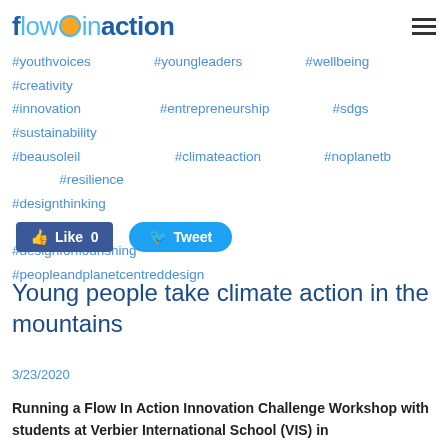flowinaction
#youthvoices #youngleaders #wellbeing #creativity #innovation #entrepreneurship #sdgs #sustainability #beausoleil #climateaction #noplanetb #resilience #designthinking #designforflourishing #peopleandplanetcentreddesign
[Figure (screenshot): Facebook Like button showing 0 likes and Twitter Tweet button]
Young people take climate action in the mountains
3/23/2020
Running a Flow In Action Innovation Challenge Workshop with students at Verbier International School (VIS) in